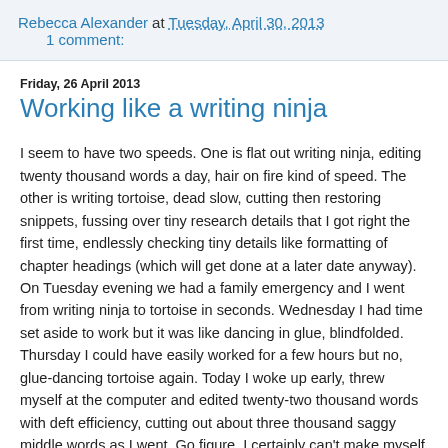Rebecca Alexander at Tuesday, April 30, 2013   1 comment:
Friday, 26 April 2013
Working like a writing ninja
I seem to have two speeds. One is flat out writing ninja, editing twenty thousand words a day, hair on fire kind of speed. The other is writing tortoise, dead slow, cutting then restoring snippets, fussing over tiny research details that I got right the first time, endlessly checking tiny details like formatting of chapter headings (which will get done at a later date anyway). On Tuesday evening we had a family emergency and I went from writing ninja to tortoise in seconds. Wednesday I had time set aside to work but it was like dancing in glue, blindfolded. Thursday I could have easily worked for a few hours but no, glue-dancing tortoise again. Today I woke up early, threw myself at the computer and edited twenty-two thousand words with deft efficiency, cutting out about three thousand saggy middle words as I went. Go figure. I certainly can't make myself do it, it just